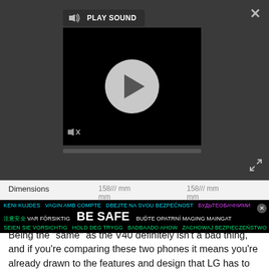[Figure (screenshot): Media player overlay with Play Sound tooltip, a circular play button on black video area, mute icon, and progress bar on dark grey background. Close (X) button top right. Expand icon bottom right.]
| Dimensions | 158.mm
mm
169 g | 158.mm.mm
mm
183g |
Being the "same" as the V40 definitely isn't a bad thing, and if you're comparing these two phones it means you're already drawn to the features and design that LG has to offer. But it's worth noting that the improvements in the V50 are minimal, even though it's listed with a different name that would indicate there's more of an upgrade at play
KENI KUJDES  VAGIN AMB COMPTE  DBEJTE NA SVOU BEZPEČNOST  БУДЬТЕОБАЧНИМИ  注意安全 VAR FÖRSIKTIG  BE SAFE  BUĎTE OPATRNÍ MAGING MAINGAT  SEIEN SIE VORSICHTIG  HOLD DEG TRYGG  BADBAADO AHOW  ZACHOWAJ BEZPIECZEŃSTWO